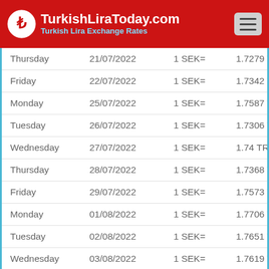TurkishLiraToday.com — Turkish Lira Exchange Rates
| Day | Date | Rate | Value |
| --- | --- | --- | --- |
| Thursday | 21/07/2022 | 1 SEK= | 1.7279 TRY |
| Friday | 22/07/2022 | 1 SEK= | 1.7342 TRY |
| Monday | 25/07/2022 | 1 SEK= | 1.7587 TRY |
| Tuesday | 26/07/2022 | 1 SEK= | 1.7306 TRY |
| Wednesday | 27/07/2022 | 1 SEK= | 1.74 TRY |
| Thursday | 28/07/2022 | 1 SEK= | 1.7368 TRY |
| Friday | 29/07/2022 | 1 SEK= | 1.7573 TRY |
| Monday | 01/08/2022 | 1 SEK= | 1.7706 TRY |
| Tuesday | 02/08/2022 | 1 SEK= | 1.7651 TRY |
| Wednesday | 03/08/2022 | 1 SEK= | 1.7619 TRY |
| Thursday | 04/08/2022 | 1 SEK= | 1.7623 TRY |